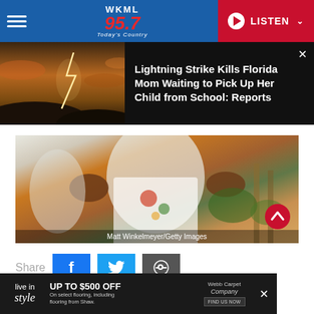WKML 95.7 Today's Country — LISTEN
[Figure (photo): Lightning strike over dark hills at dusk with orange sky, news banner thumbnail]
Lightning Strike Kills Florida Mom Waiting to Pick Up Her Child from School: Reports
[Figure (photo): Person in white embroidered t-shirt gesturing with hands, outdoor setting with plants. Credit: Matt Winkelmeyer/Getty Images]
Matt Winkelmeyer/Getty Images
Share
[Figure (infographic): Advertisement: live in style — UP TO $500 OFF On select flooring, including flooring from Shaw. Webb Carpet Company. FIND US NOW.]